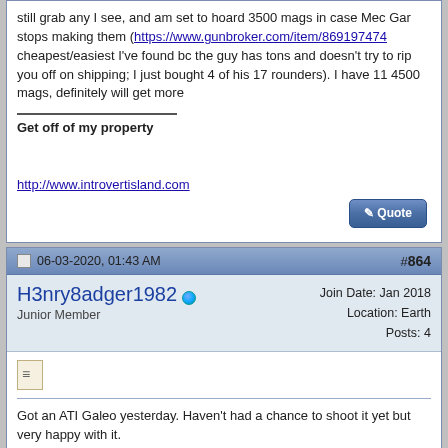still grab any I see, and am set to hoard 3500 mags in case Mec Gar stops making them (https://www.gunbroker.com/item/869197474 cheapest/easiest I've found bc the guy has tons and doesn't try to rip you off on shipping; I just bought 4 of his 17 rounders). I have 11 4500 mags, definitely will get more
Get off of my property
http://www.introvertisland.com
06-03-2020, 01:43 AM
#864
H3nry8adger1982
Junior Member
Join Date: Jan 2018
Location: Earth
Posts: 4
Got an ATI Galeo yesterday. Haven't had a chance to shoot it yet but very happy with it.
06-12-2020, 11:00 PM
#865
S&Wshooter
Join Date: Dec 2009
Location: Texas
Posts: 4,928